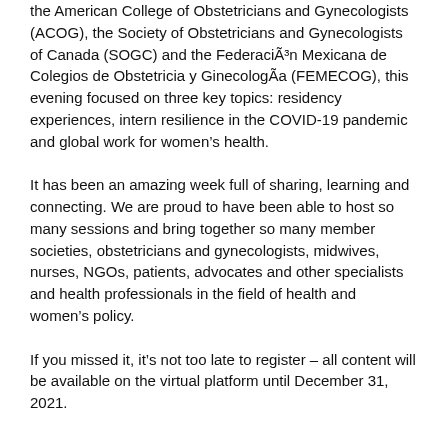the American College of Obstetricians and Gynecologists (ACOG), the Society of Obstetricians and Gynecologists of Canada (SOGC) and the Federación Mexicana de Colegios de Obstetricia y Ginecología (FEMECOG), this evening focused on three key topics: residency experiences, intern resilience in the COVID-19 pandemic and global work for women's health.
It has been an amazing week full of sharing, learning and connecting. We are proud to have been able to host so many sessions and bring together so many member societies, obstetricians and gynecologists, midwives, nurses, NGOs, patients, advocates and other specialists and health professionals in the field of health and women's policy.
If you missed it, it's not too late to register – all content will be available on the virtual platform until December 31, 2021.